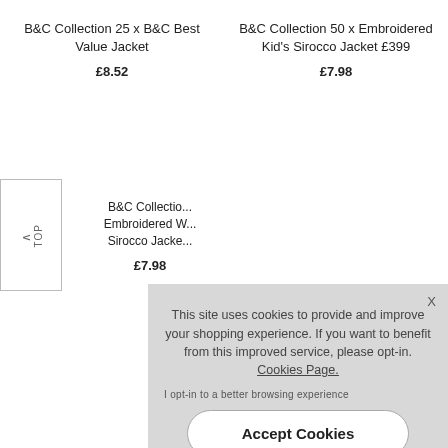B&C Collection 25 x B&C Best Value Jacket
£8.52
B&C Collection 50 x Embroidered Kid's Sirocco Jacket £399
£7.98
[Figure (screenshot): Cookie consent overlay with message about site cookies, an opt-in link, and Accept Cookies button]
B&C Collection ... Embroidered W... Sirocco Jacke...
£7.98